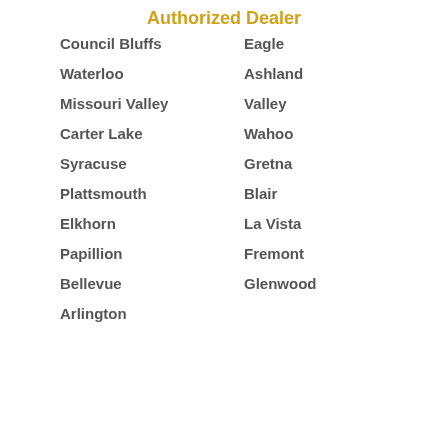Authorized Dealer
Council Bluffs
Eagle
Waterloo
Ashland
Missouri Valley
Valley
Carter Lake
Wahoo
Syracuse
Gretna
Plattsmouth
Blair
Elkhorn
La Vista
Papillion
Fremont
Bellevue
Glenwood
Arlington